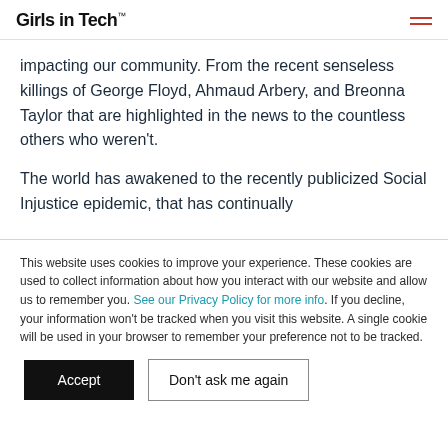Girls in Tech
impacting our community. From the recent senseless killings of George Floyd, Ahmaud Arbery, and Breonna Taylor that are highlighted in the news to the countless others who weren’t.
The world has awakened to the recently publicized Social Injustice epidemic, that has continually
This website uses cookies to improve your experience. These cookies are used to collect information about how you interact with our website and allow us to remember you. See our Privacy Policy for more info. If you decline, your information won’t be tracked when you visit this website. A single cookie will be used in your browser to remember your preference not to be tracked.